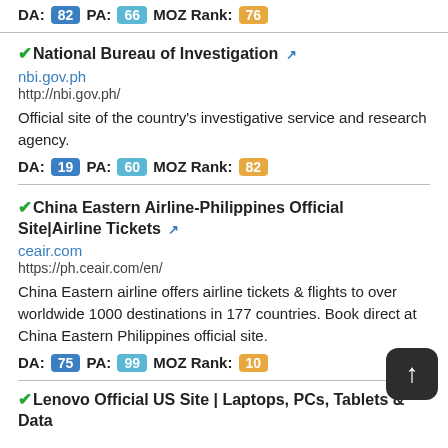DA: 82 PA: 66 MOZ Rank: 76
National Bureau of Investigation
nbi.gov.ph
http://nbi.gov.ph/
Official site of the country's investigative service and research agency.
DA: 19 PA: 60 MOZ Rank: 82
China Eastern Airline-Philippines Official Site|Airline Tickets
ceair.com
https://ph.ceair.com/en/
China Eastern airline offers airline tickets & flights to over worldwide 1000 destinations in 177 countries. Book direct at China Eastern Philippines official site.
DA: 75 PA: 99 MOZ Rank: 10
Lenovo Official US Site | Laptops, PCs, Tablets & Data